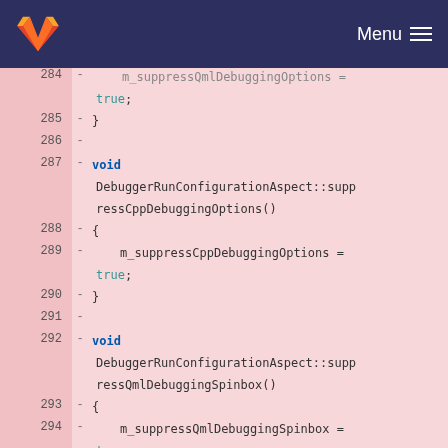GitLab — Menu
[Figure (screenshot): GitLab source code diff view showing lines 284-297 with removed lines (pink background) displaying C++ code for DebuggerRunConfigurationAspect functions suppressCppDebuggingOptions and suppressQmlDebuggingSpinbox]
284  - m_suppressQmlDebuggingOptions = true;
285  - }
286  -
287  - void DebuggerRunConfigurationAspect::suppressCppDebuggingOptions()
288  - {
289  -     m_suppressCppDebuggingOptions = true;
290  - }
291  -
292  - void DebuggerRunConfigurationAspect::suppressQmlDebuggingSpinbox()
293  - {
294  -     m_suppressQmlDebuggingSpinbox = true;
295  - }
296  -
297  - bool